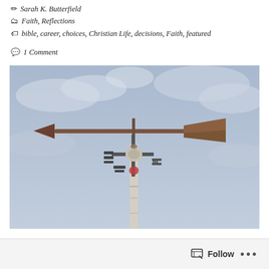✏ Sarah K. Butterfield
🗂 Faith, Reflections
🏷 bible, career, choices, Christian Life, decisions, Faith, featured
💬 1 Comment
[Figure (photo): A weather vane with compass directions on a white pole against a cloudy blue-grey sky. The arrow points left. The metal is rusty and aged.]
Follow ...